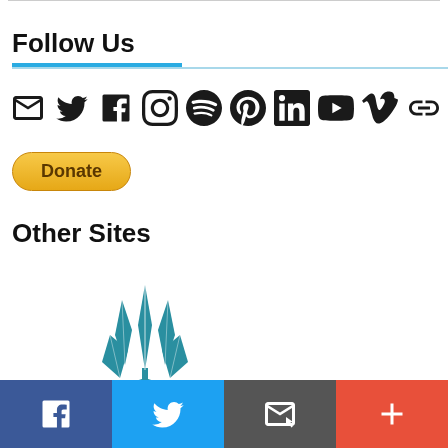Follow Us
[Figure (infographic): Row of social media icons: email, Twitter, Facebook, Instagram, Spotify, Pinterest, LinkedIn, YouTube, Vimeo, link]
[Figure (other): PayPal Donate button, yellow rounded rectangle with bold text 'Donate']
Other Sites
[Figure (logo): Teal/blue stylized plant or wheat logo for another site]
[Figure (infographic): Bottom sharing bar with four sections: Facebook (dark blue, f icon), Twitter (light blue, bird icon), Email (gray, envelope icon), More (orange-red, plus icon)]